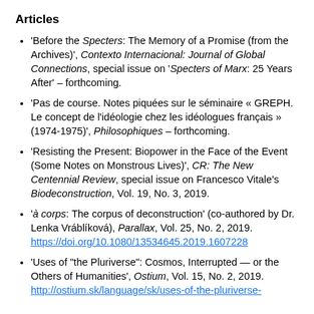Articles
'Before the Specters: The Memory of a Promise (from the Archives)', Contexto Internacional: Journal of Global Connections, special issue on 'Specters of Marx: 25 Years After' – forthcoming.
'Pas de course. Notes piquées sur le séminaire « GREPH. Le concept de l'idéologie chez les idéologues français » (1974-1975)', Philosophiques – forthcoming.
'Resisting the Present: Biopower in the Face of the Event (Some Notes on Monstrous Lives)', CR: The New Centennial Review, special issue on Francesco Vitale's Biodeconstruction, Vol. 19, No. 3, 2019.
'à corps: The corpus of deconstruction' (co-authored by Dr. Lenka Vráblíková), Parallax, Vol. 25, No. 2, 2019. https://doi.org/10.1080/13534645.2019.1607228
'Uses of "the Pluriverse": Cosmos, Interrupted — or the Others of Humanities', Ostium, Vol. 15, No. 2, 2019. http://ostium.sk/language/sk/uses-of-the-pluriverse-